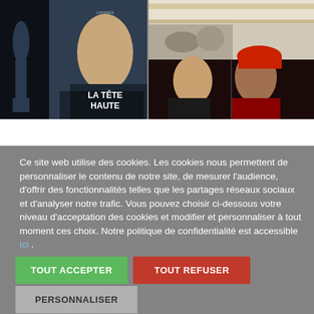[Figure (photo): Collage of movie-related photos: left side shows a film poster for 'La Tête Haute' with a young man's face and Cannes film festival branding, right side shows two people at what appears to be a festival venue and a couple with one wearing a red cap]
Ce site web utilise des cookies. Les cookies nous permettent de personnaliser le contenu de notre site, de mesurer l'audience, d'offrir des fonctionnalités telles que les partages réseaux sociaux et d'analyser notre trafic. Vous pouvez choisir ci-dessous votre niveau d'acceptation des cookies et modifier et personnaliser à tout moment ces choix. Notre politique de confidentialité est accessible ici .
TOUT ACCEPTER
TOUT REFUSER
PERSONNALISER